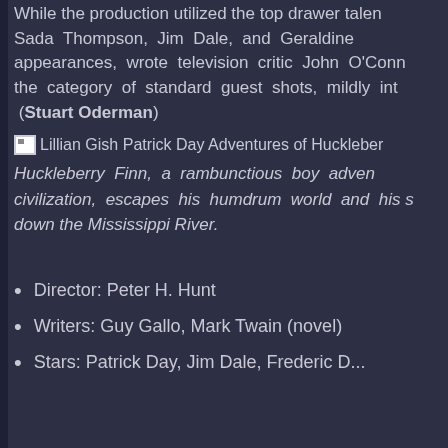While the production utilized the top drawer talent Sada Thompson, Jim Dale, and Geraldine appearances, wrote television critic John O'Conn the category of standard guest shots, mildly int (Stuart Oderman)
[Figure (photo): Lillian Gish Patrick Day Adventures of Huckleberry Finn image placeholder]
Huckleberry Finn, a rambunctious boy adven civilization, escapes his humdrum world and his s down the Mississippi River.
Director: Peter H. Hunt
Writers: Guy Gallo, Mark Twain (novel)
Stars: Patrick Day, Jim Dale, Frederic...